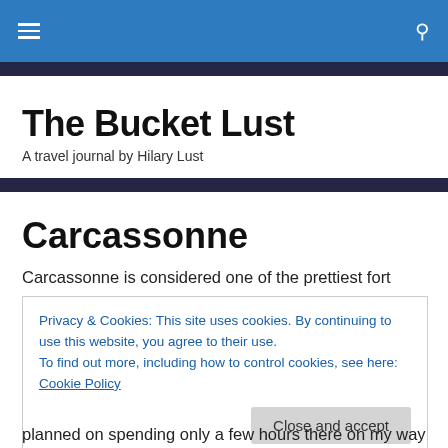The Bucket Lust — navigation header with hamburger menu and search icon
The Bucket Lust
A travel journal by Hilary Lust
Carcassonne
Carcassonne is considered one of the prettiest fort towns in Southern France. It's walled old city, with a river running
Privacy & Cookies: This site uses cookies. By continuing to use this website, you agree to their use.
To find out more, including how to control cookies, see here: Cookie Policy

Close and accept
planned on spending only a few hours there on my way